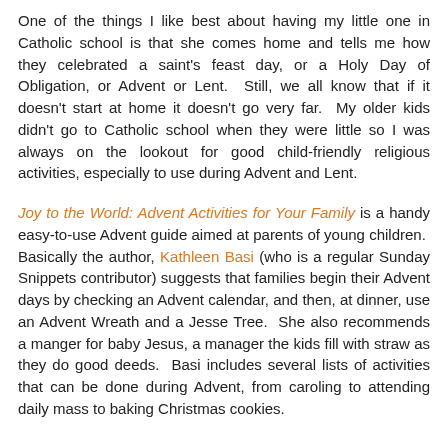One of the things I like best about having my little one in Catholic school is that she comes home and tells me how they celebrated a saint's feast day, or a Holy Day of Obligation, or Advent or Lent.  Still, we all know that if it doesn't start at home it doesn't go very far.  My older kids didn't go to Catholic school when they were little so I was always on the lookout for good child-friendly religious activities, especially to use during Advent and Lent.
Joy to the World: Advent Activities for Your Family is a handy easy-to-use Advent guide aimed at parents of young children.  Basically the author, Kathleen Basi (who is a regular Sunday Snippets contributor) suggests that families begin their Advent days by checking an Advent calendar, and then, at dinner, use an Advent Wreath and a Jesse Tree.  She also recommends a manger for baby Jesus, a manager the kids fill with straw as they do good deeds.  Basi includes several lists of activities that can be done during Advent, from caroling to attending daily mass to baking Christmas cookies.